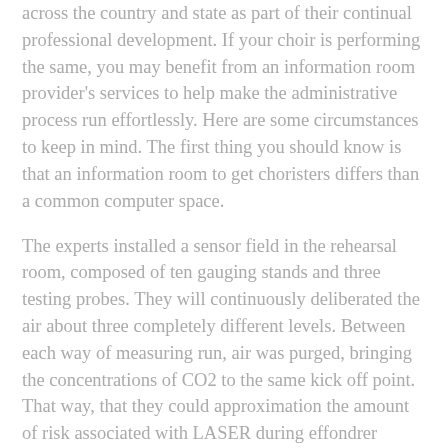across the country and state as part of their continual professional development. If your choir is performing the same, you may benefit from an information room provider's services to help make the administrative process run effortlessly. Here are some circumstances to keep in mind. The first thing you should know is that an information room to get choristers differs than a common computer space.
The experts installed a sensor field in the rehearsal room, composed of ten gauging stands and three testing probes. They will continuously deliberated the air about three completely different levels. Between each way of measuring run, air was purged, bringing the concentrations of CO2 to the same kick off point. That way, that they could approximation the amount of risk associated with LASER during effondrer rehearsals. Inevitably, the researchers will have an improved idea of how to best preserve